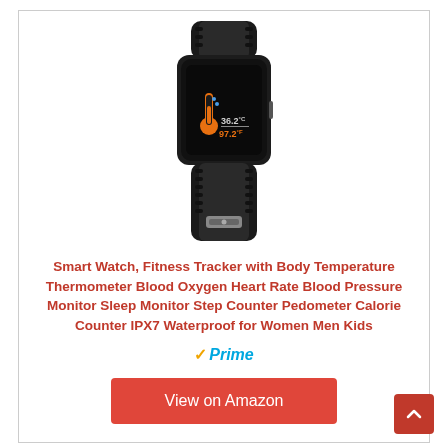[Figure (photo): Smart fitness tracker wristband with black band and color display showing thermometer icon, 36.2°C and 97.2°F temperature readings]
Smart Watch, Fitness Tracker with Body Temperature Thermometer Blood Oxygen Heart Rate Blood Pressure Monitor Sleep Monitor Step Counter Pedometer Calorie Counter IPX7 Waterproof for Women Men Kids
[Figure (logo): Amazon Prime logo with orange checkmark and blue italic Prime text]
View on Amazon
Categories